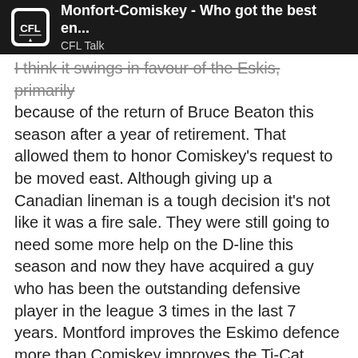Monfort-Comiskey - Who got the best en... | CFL Talk
I think it swings in favour of the Eskis, primarily because of the return of Bruce Beaton this season after a year of retirement. That allowed them to honor Comiskey's request to be moved east. Although giving up a Canadian lineman is a tough decision it's not like it was a fire sale. They were still going to need some more help on the D-line this season and now they have acquired a guy who has been the outstanding defensive player in the league 3 times in the last 7 years. Montford improves the Eskimo defence more than Comiskey improves the Ti-Cat offence.
Sportsmen 12/18